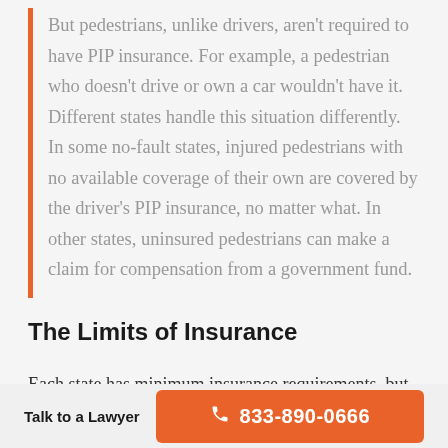But pedestrians, unlike drivers, aren't required to have PIP insurance. For example, a pedestrian who doesn't drive or own a car wouldn't have it. Different states handle this situation differently. In some no-fault states, injured pedestrians with no available coverage of their own are covered by the driver's PIP insurance, no matter what. In other states, uninsured pedestrians can make a claim for compensation from a government fund.
The Limits of Insurance
Each state has minimum insurance requirements, but most states require less insurance than you'll
Talk to a Lawyer  833-890-0666